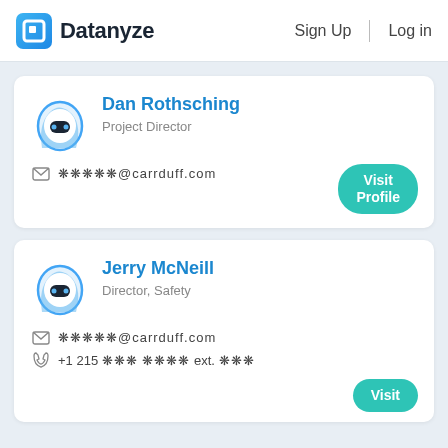Datanyze  Sign Up  Log in
Dan Rothsching
Project Director
✉ ●●●●●@carrduff.com
Visit Profile
Jerry McNeill
Director, Safety
✉ ●●●●●@carrduff.com
☎ +1 215 ●●● ●●●● ext. ●●●
Visit